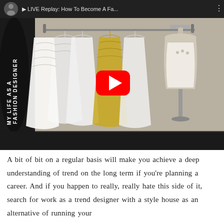[Figure (screenshot): YouTube video thumbnail/player showing a fashion designer's studio with wedding dresses hanging on a rack and a dress form/mannequin. The video title reads 'LIVE Replay: How To Become A Fa...' with a red YouTube play button in the center. Left side has vertical text reading 'MY LIFE AS A FASHION DESIGNER'.]
A bit of bit on a regular basis will make you achieve a deep understanding of trend on the long term if you're planning a career. And if you happen to really, really hate this side of it, search for work as a trend designer with a style house as an alternative of running your